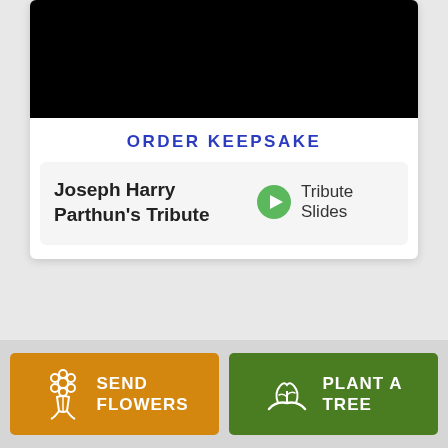[Figure (other): Black video player thumbnail area at top of card]
ORDER KEEPSAKE
Joseph Harry Parthun's Tribute
Tribute Slides
SEND FLOWERS
PLANT A TREE